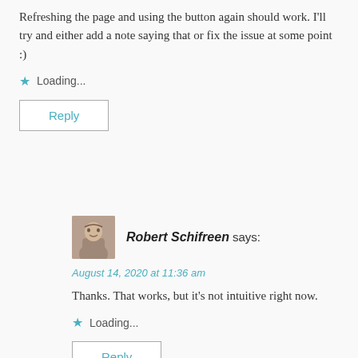Refreshing the page and using the button again should work. I'll try and either add a note saying that or fix the issue at some point :)
Loading...
Reply
Robert Schifreen says:
August 14, 2020 at 11:36 am
Thanks. That works, but it's not intuitive right now.
Loading...
Reply